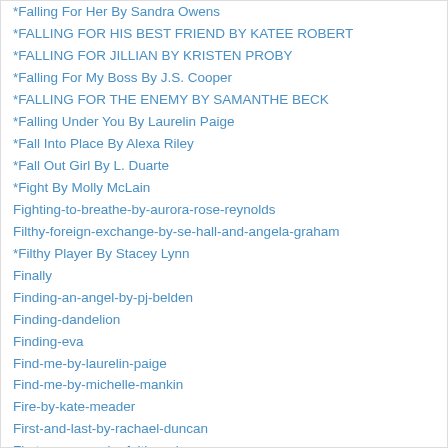*Falling For Her By Sandra Owens
*FALLING FOR HIS BEST FRIEND BY KATEE ROBERT
*FALLING FOR JILLIAN BY KRISTEN PROBY
*Falling For My Boss By J.S. Cooper
*FALLING FOR THE ENEMY BY SAMANTHE BECK
*Falling Under You By Laurelin Paige
*Fall Into Place By Alexa Riley
*Fall Out Girl By L. Duarte
*Fight By Molly McLain
Fighting-to-breathe-by-aurora-rose-reynolds
Filthy-foreign-exchange-by-se-hall-and-angela-graham
*Filthy Player By Stacey Lynn
Finally
Finding-an-angel-by-pj-belden
Finding-dandelion
Finding-eva
Find-me-by-laurelin-paige
Find-me-by-michelle-mankin
Fire-by-kate-meader
First-and-last-by-rachael-duncan
First-came-you-by-faith-andrews